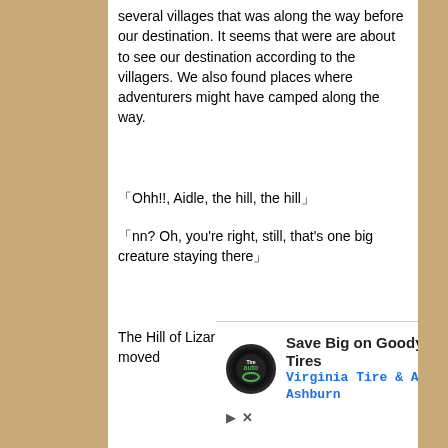several villages that was along the way before our destination. It seems that were are about to see our destination according to the villagers. We also found places where adventurers might have camped along the way.
「Ohh!!, Aidle, the hill, the hill」
「nn? Oh, you're right, still, that's one big creature staying there」
The Hill of Lizarl. My tension rose and I quickly moved
[Figure (infographic): Advertisement banner for Virginia Tire & Auto of Ashburn featuring Goodyear Tires logo, headline 'Save Big on Goodyear Tires', subtext 'Virginia Tire & Auto of Ashburn', a blue diamond arrow icon, play button and close (X) button.]